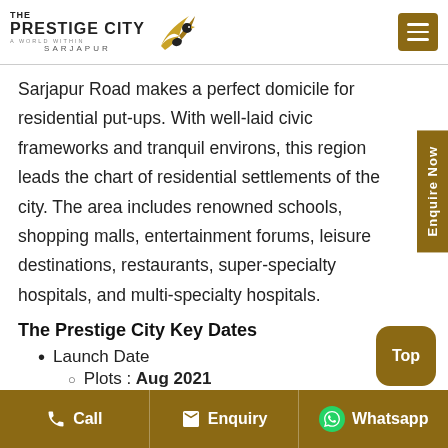[Figure (logo): The Prestige City Sarjapur logo with golden bird/eagle graphic, text 'THE PRESTIGE CITY' and 'SARJAPUR']
Sarjapur Road makes a perfect domicile for residential put-ups. With well-laid civic frameworks and tranquil environs, this region leads the chart of residential settlements of the city. The area includes renowned schools, shopping malls, entertainment forums, leisure destinations, restaurants, super-specialty hospitals, and multi-specialty hospitals.
The Prestige City Key Dates
Launch Date
Plots : Aug 2021
Call   Enquiry   Whatsapp